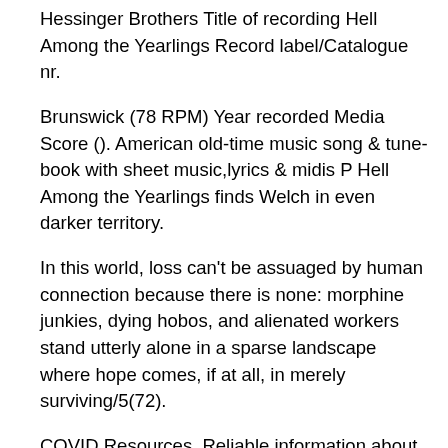Hessinger Brothers Title of recording Hell Among the Yearlings Record label/Catalogue nr.
Brunswick (78 RPM) Year recorded Media Score (). American old-time music song & tune-book with sheet music,lyrics & midis P Hell Among the Yearlings finds Welch in even darker territory.
In this world, loss can't be assuaged by human connection because there is none: morphine junkies, dying hobos, and alienated workers stand utterly alone in a sparse landscape where hope comes, if at all, in merely surviving/5(72).
COVID Resources. Reliable information about the coronavirus (COVID) is available from the World Health Organization (current situation, international travel).Numerous and frequently-updated resource results are available from this 's WebJunction has pulled together information and resources to assist library staff as they consider how to handle coronavirus.
Originally released in"Hell Among The Yearlings" was Gillian's second album. Again this is a classic collection of timeless ballads rooted in the American